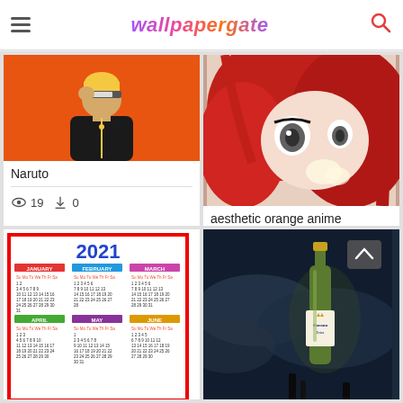wallpapergate
[Figure (illustration): Naruto anime character with orange background, minimalist style]
Naruto
👁 19  ⬇ 0
[Figure (illustration): Anime girl with red hair, close-up face illustration]
aesthetic orange anime
👁 18  ⬇ 0
[Figure (photo): 2021 calendar showing January, February, March, April, May, June months]
[Figure (photo): Corona Extra beer bottle with dark stormy background and scroll-up button overlay]